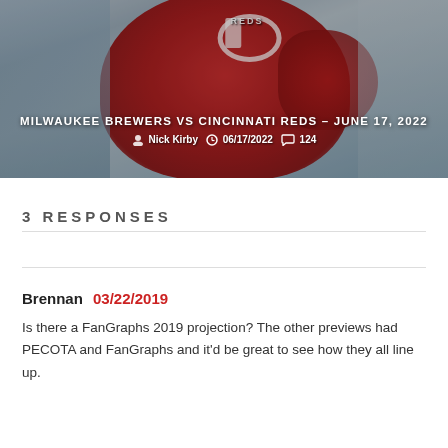[Figure (photo): Hero image of a Cincinnati Reds baseball player in red uniform with blurred background, overlaid with article title and metadata]
MILWAUKEE BREWERS VS CINCINNATI REDS – JUNE 17, 2022
Nick Kirby  06/17/2022  124
3 RESPONSES
Brennan 03/22/2019
Is there a FanGraphs 2019 projection? The other previews had PECOTA and FanGraphs and it'd be great to see how they all line up.